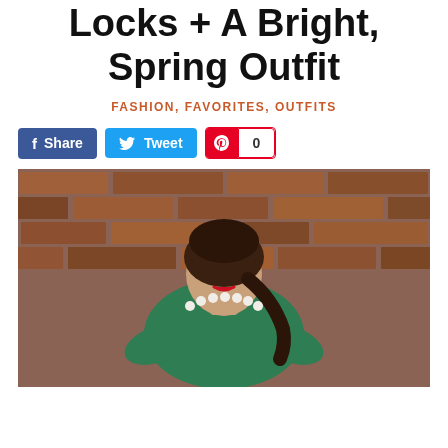Locks + A Bright, Spring Outfit
FASHION, FAVORITES, OUTFITS
[Figure (other): Social sharing buttons: Facebook Share, Twitter Tweet, Pinterest with count 0]
[Figure (photo): Woman with dark braided hair wearing a bright green long-sleeve top and pearl necklace, standing in front of a brick wall]